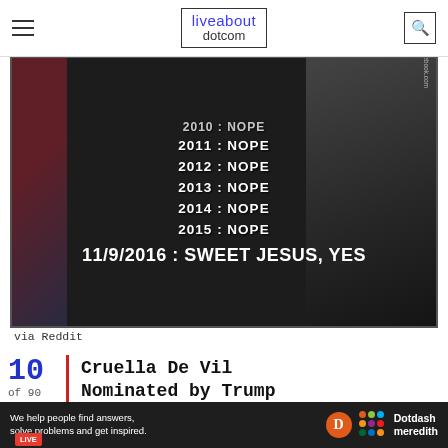liveabout dotcom
[Figure (photo): Meme image showing a man in a suit with text listing years 2010-2015 as NOPE and 11/9/2016 as SWEET JESUS, YES]
via Reddit
10 of 90 | Cruella De Vil Nominated by Trump
[Figure (photo): Photo strip showing Trump and another person with LIVE badge overlay]
We help people find answers, solve problems and get inspired. Dotdash meredith